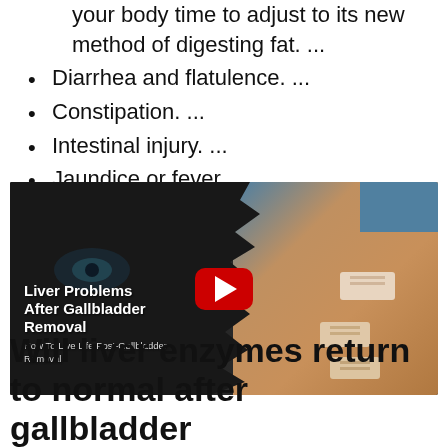your body time to adjust to its new method of digesting fat. ...
Diarrhea and flatulence. ...
Constipation. ...
Intestinal injury. ...
Jaundice or fever.
[Figure (screenshot): YouTube video thumbnail titled 'Liver Problems After Gallbladder Removal' with subtitle 'How To Live Life Post-Gallbladder Removal'. Shows a dark face on the left and a medical image of an abdomen with surgical bandages on the right, with a red YouTube play button in the center.]
Will liver enzymes return to normal after gallbladder